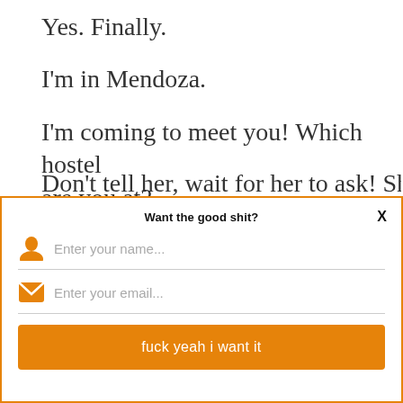Yes. Finally.
I'm in Mendoza.
I'm coming to meet you! Which hostel are you at?
[Figure (screenshot): Email signup modal overlay with orange border. Title: 'Want the good shit?', close button 'X', name input field with person icon placeholder 'Enter your name...', email input field with envelope icon placeholder 'Enter your email...', and orange submit button labeled 'fuck yeah i want it'.]